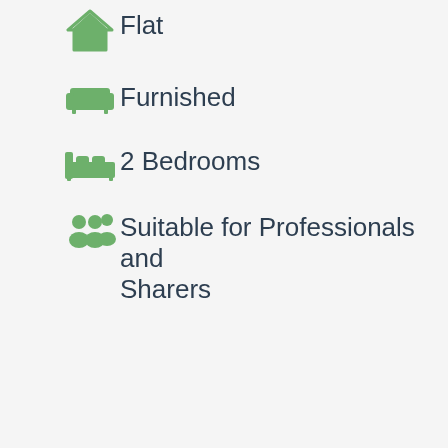Flat
Furnished
2 Bedrooms
Suitable for Professionals and Sharers